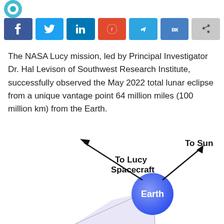[Figure (logo): Partial circular logo in teal/blue at top left]
[Figure (infographic): Row of social media sharing buttons: Facebook, Twitter, LinkedIn, Reddit, Telegram, VK, Share]
The NASA Lucy mission, led by Principal Investigator Dr. Hal Levison of Southwest Research Institute, successfully observed the May 2022 total lunar eclipse from a unique vantage point 64 million miles (100 million km) from the Earth.
[Figure (illustration): Diagram showing Earth as a blue circle at center-right, with two arrows: one labeled 'To Lucy Spacecraft' pointing upper-left, and one labeled 'To Sun' pointing upper-right. A light lavender cone/shadow region emanates from Earth between the two directions.]